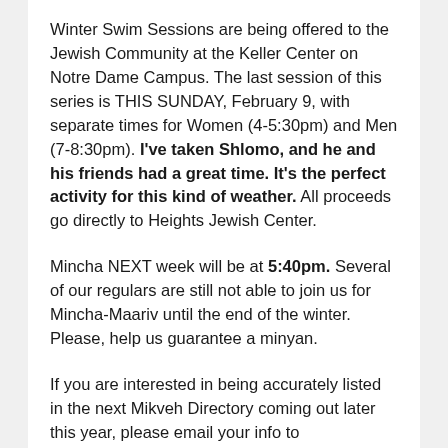Winter Swim Sessions are being offered to the Jewish Community at the Keller Center on Notre Dame Campus. The last session of this series is THIS SUNDAY, February 9, with separate times for Women (4-5:30pm) and Men (7-8:30pm). I've taken Shlomo, and he and his friends had a great time. It's the perfect activity for this kind of weather. All proceeds go directly to Heights Jewish Center.
Mincha NEXT week will be at 5:40pm. Several of our regulars are still not able to join us for Mincha-Maariv until the end of the winter. Please, help us guarantee a minyan.
If you are interested in being accurately listed in the next Mikveh Directory coming out later this year, please email your info to theclevelanddirectory